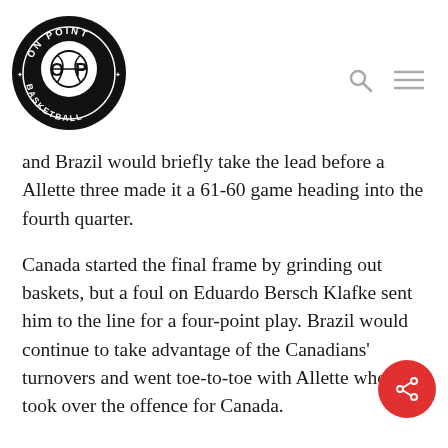[Figure (logo): On Point Basketball circular logo — black circle with 'ON POINT' at top, 'BASKETBALL' at bottom, and stylized 'OP' letters with basketball icon in the center]
and Brazil would briefly take the lead before a Allette three made it a 61-60 game heading into the fourth quarter.
Canada started the final frame by grinding out baskets, but a foul on Eduardo Bersch Klafke sent him to the line for a four-point play. Brazil would continue to take advantage of the Canadians' turnovers and went toe-to-toe with Allette who took over the offence for Canada.